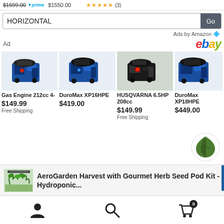$1599.00 prime $1550.00 ★★★★★ (3)
HORIZONTAL
Ads by Amazon
Ad
[Figure (logo): eBay logo in colorful italic text]
[Figure (photo): Gas Engine 212cc 4- product photo, blue engine]
Gas Engine 212cc 4-
$149.99
Free Shipping
[Figure (photo): DuroMax XP16HPE product photo, blue engine]
DuroMax XP16HPE
$419.00
[Figure (photo): HUSQVARNA 6.5HP 208cc product photo, black engine]
HUSQVARNA 6.5HP 208cc
$149.99
Free Shipping
[Figure (photo): DuroMax XP18HPE product photo, blue engine]
DuroMax XP18HPE
$449.00
[Figure (illustration): Green leaf logo icon in circular white background]
[Figure (photo): AeroGarden herb plants photo]
AeroGarden Harvest with Gourmet Herb Seed Pod Kit - Hydroponic...
User icon | Search icon | Cart (0)